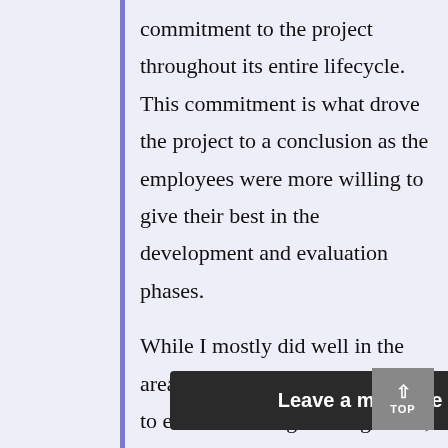commitment to the project throughout its entire lifecycle. This commitment is what drove the project to a conclusion as the employees were more willing to give their best in the development and evaluation phases.
While I mostly did well in the areas that are considered crucial to effective change management, I feel that there are areas in which I could have done better in project management.